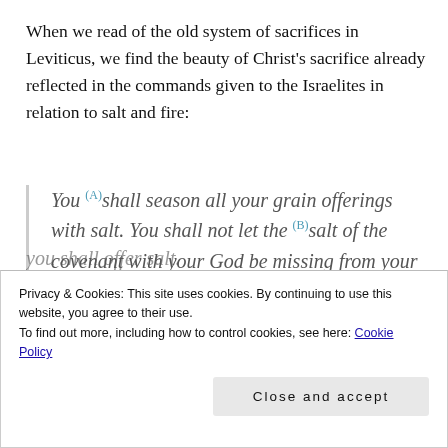When we read of the old system of sacrifices in Leviticus, we find the beauty of Christ's sacrifice already reflected in the commands given to the Israelites in relation to salt and fire:
You (A)shall season all your grain offerings with salt. You shall not let the (B)salt of the covenant with your God be missing from your grain offering; (C)with all your offerings you shall offer salt.
Privacy & Cookies: This site uses cookies. By continuing to use this website, you agree to their use.
To find out more, including how to control cookies, see here: Cookie Policy
Close and accept